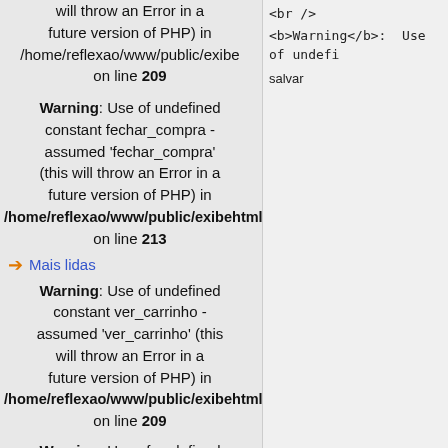will throw an Error in a future version of PHP) in /home/reflexao/www/public/exibe on line 209
Warning: Use of undefined constant fechar_compra - assumed 'fechar_compra' (this will throw an Error in a future version of PHP) in /home/reflexao/www/public/exibehtml.php on line 213
Mais lidas
Warning: Use of undefined constant ver_carrinho - assumed 'ver_carrinho' (this will throw an Error in a future version of PHP) in /home/reflexao/www/public/exibehtml.php on line 209
Warning: Use of undefined constant fechar_compra - assumed 'fechar_compra'
<br /> <b>Warning</b>: Use of undefi... salvar